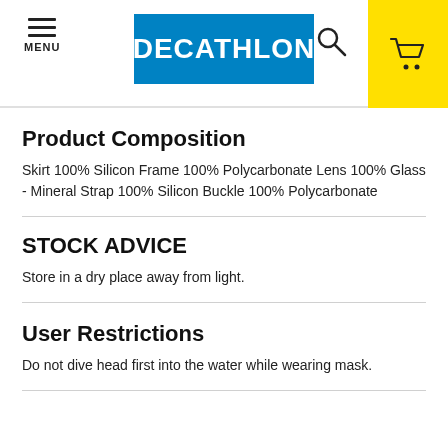MENU | DECATHLON | [search] [cart]
Product Composition
Skirt 100% Silicon Frame 100% Polycarbonate Lens 100% Glass - Mineral Strap 100% Silicon Buckle 100% Polycarbonate
STOCK ADVICE
Store in a dry place away from light.
User Restrictions
Do not dive head first into the water while wearing mask.